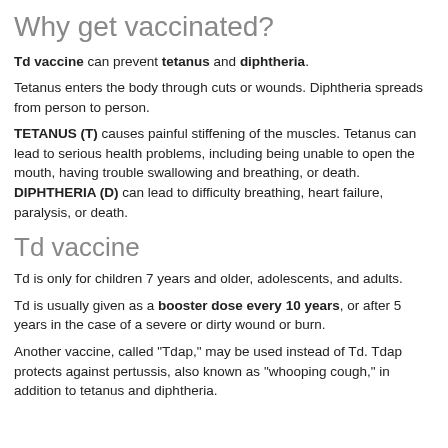Why get vaccinated?
Td vaccine can prevent tetanus and diphtheria.
Tetanus enters the body through cuts or wounds. Diphtheria spreads from person to person.
TETANUS (T) causes painful stiffening of the muscles. Tetanus can lead to serious health problems, including being unable to open the mouth, having trouble swallowing and breathing, or death. DIPHTHERIA (D) can lead to difficulty breathing, heart failure, paralysis, or death.
Td vaccine
Td is only for children 7 years and older, adolescents, and adults.
Td is usually given as a booster dose every 10 years, or after 5 years in the case of a severe or dirty wound or burn.
Another vaccine, called "Tdap," may be used instead of Td. Tdap protects against pertussis, also known as "whooping cough," in addition to tetanus and diphtheria.